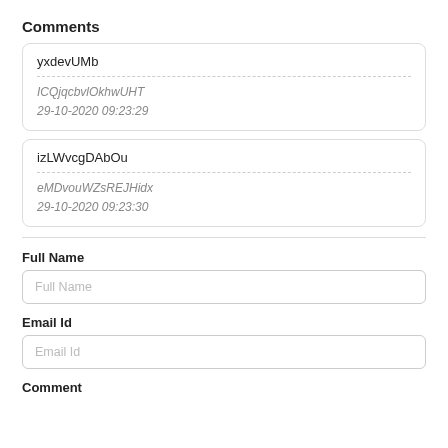Comments
yxdevUMb
ICQjqcbvlOkhwUHT
29-10-2020 09:23:29
izLWvcgDAbOu
eMDvouWZsREJHidx
29-10-2020 09:23:30
Full Name
Full Name
Email Id
Email Id
Comment